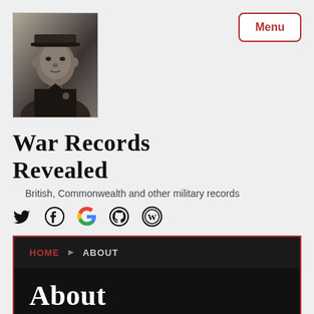[Figure (photo): Black and white photograph of a military officer in uniform]
War Records Revealed
British, Commonwealth and other military records
[Figure (infographic): Social media icons: Twitter, Facebook, Google, GitHub, WordPress]
HOME > ABOUT
About
Justin Nash ex-teacher of History and Politics. I have also